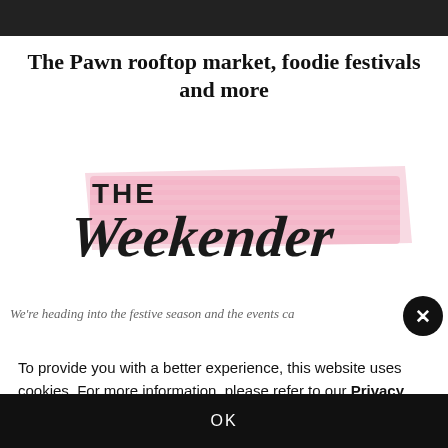The Pawn rooftop market, foodie festivals and more
[Figure (logo): The Weekender logo — handwritten script 'The Weekender' in dark ink overlaid on a pink brushstroke/ribbon background]
We're heading into the festive season and the events ca…
To provide you with a better experience, this website uses cookies. For more information, please refer to our Privacy Policy
OK